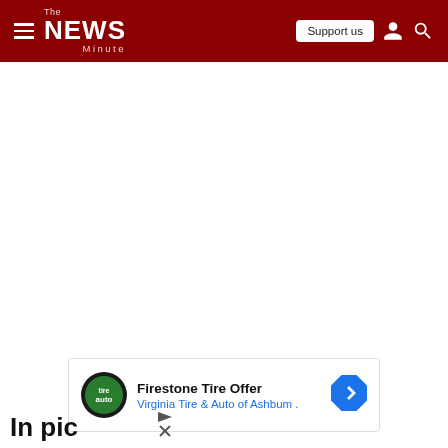The News Minute
[Figure (screenshot): Advertisement for Firestone Tire Offer by Virginia Tire & Auto of Ashburn with logo and directional arrow icon]
In pic